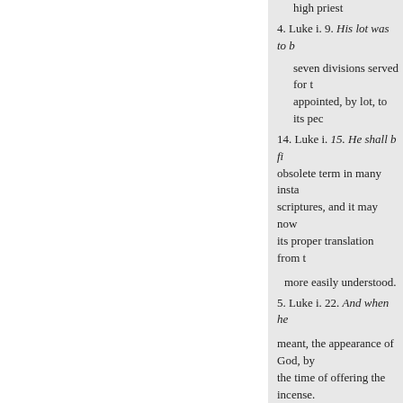high priest
4. Luke i. 9. His lot was to b
seven divisions served for t appointed, by lot, to its pec
14. Luke i. 15. He shall b fi obsolete term in many insta scriptures, and it may now its proper translation from t
more easily understood.
5. Luke i. 22. And when he
meant, the appearance of God, by the time of offering the incense. speechless, that he had been thus
favoured.-Hammond. 9. Luke i. 6
word horn is used in the scripture lxxv. 10. also honour and triump it signifies the power of a king o house of David be. ing the regal salvation in the house of David,
denotes the kingdom of Christ. 1